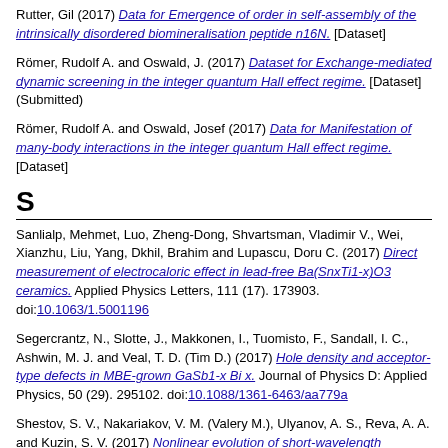Rutter, Gil (2017) Data for Emergence of order in self-assembly of the intrinsically disordered biomineralisation peptide n16N. [Dataset]
Römer, Rudolf A. and Oswald, J. (2017) Dataset for Exchange-mediated dynamic screening in the integer quantum Hall effect regime. [Dataset] (Submitted)
Römer, Rudolf A. and Oswald, Josef (2017) Data for Manifestation of many-body interactions in the integer quantum Hall effect regime. [Dataset]
S
Sanlialp, Mehmet, Luo, Zheng-Dong, Shvartsman, Vladimir V., Wei, Xianzhu, Liu, Yang, Dkhil, Brahim and Lupascu, Doru C. (2017) Direct measurement of electrocaloric effect in lead-free Ba(SnxTi1-x)O3 ceramics. Applied Physics Letters, 111 (17). 173903. doi:10.1063/1.5001196
Segercrantz, N., Slotte, J., Makkonen, I., Tuomisto, F., Sandall, I. C., Ashwin, M. J. and Veal, T. D. (Tim D.) (2017) Hole density and acceptor-type defects in MBE-grown GaSb1-x Bi x. Journal of Physics D: Applied Physics, 50 (29). 295102. doi:10.1088/1361-6463/aa779a
Shestov, S. V., Nakariakov, V. M. (Valery M.), Ulyanov, A. S., Reva, A. A. and Kuzin, S. V. (2017) Nonlinear evolution of short-wavelength torsional Alfvén waves. The Astrophysical Journal, 840 (1). doi:10.3847/1538-4357/aa700c